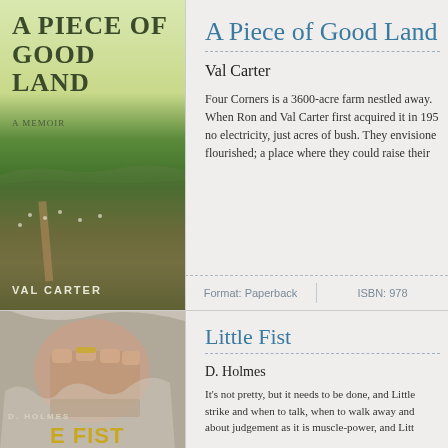[Figure (illustration): Book cover for 'A Piece of Good Land - A Memoir' by Val Carter, showing green farmland fields under a light sky]
A Piece of Good Land
Val Carter
Four Corners is a 3600-acre farm nestled away. When Ron and Val Carter first acquired it in 195... no electricity, just acres of bush. They envisioned... flourished; a place where they could raise their...
Format: Paperback
ISBN: 978...
[Figure (illustration): Book cover for 'Little Fist' by D. Holmes, showing a fist punching through paper/surface, with gold title text at bottom]
Little Fist
D. Holmes
It's not pretty, but it needs to be done, and Little... strike and when to talk, when to walk away and... about judgement as it is muscle-power, and Litt...